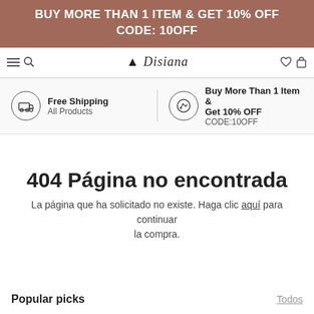BUY MORE THAN 1 ITEM & GET 10% OFF
CODE: 10OFF
[Figure (screenshot): Navigation bar with hamburger menu icon, search icon, cursive brand logo 'Disiana', heart icon, and cart icon]
Free Shipping
All Products
Buy More Than 1 Item & Get 10% OFF
CODE:10OFF
404 Página no encontrada
La página que ha solicitado no existe. Haga clic aquí para continuar la compra.
Popular picks
Todos